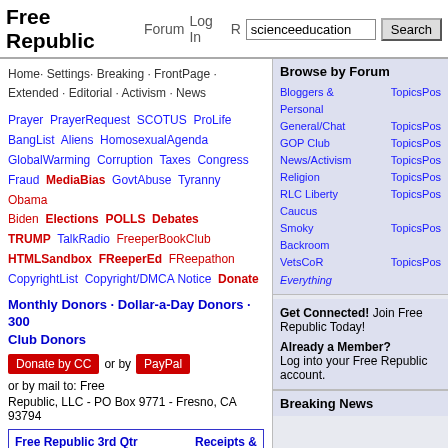Free Republic  Forum  Log In  R  scienceeducation  Search
Home · Settings · Breaking · FrontPage · Extended · Editorial · Activism · News
Prayer PrayerRequest SCOTUS ProLife BangList Aliens HomosexualAgenda GlobalWarming Corruption Taxes Congress Fraud MediaBias GovtAbuse Tyranny Obama Biden Elections POLLS Debates TRUMP TalkRadio FreeperBookClub HTMLSandbox FReeperEd FReepathon CopyrightList Copyright/DMCA Notice Donate
Monthly Donors · Dollar-a-Day Donors · 300 Club Donors
Donate by CC or by PayPal or by mail to: Free Republic, LLC - PO Box 9771 - Fresno, CA 93794
Free Republic 3rd Qtr 2022 Fundraising Target: $80,000  Receipts & Pledges to-date: $48,466
[Figure (infographic): Progress bar showing 60% fundraising progress, red fill on left, white on right, blue border]
Browse by Forum
Bloggers & Personal  TopicsPos
General/Chat  TopicsPos
GOP Club  TopicsPos
News/Activism  TopicsPos
Religion  TopicsPos
RLC Liberty Caucus  TopicsPos
Smoky Backroom  TopicsPos
VetsCoR  TopicsPos
Everything
Get Connected! Join Free Republic Today!
Already a Member? Log into your Free Republic account.